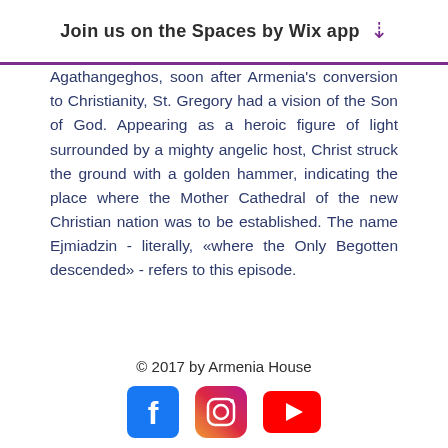Join us on the Spaces by Wix app ⬇
Agathangeghos, soon after Armenia's conversion to Christianity, St. Gregory had a vision of the Son of God. Appearing as a heroic figure of light surrounded by a mighty angelic host, Christ struck the ground with a golden hammer, indicating the place where the Mother Cathedral of the new Christian nation was to be established. The name Ejmiadzin - literally, «where the Only Begotten descended» - refers to this episode.
© 2017 by Armenia House
[Figure (illustration): Social media icons: Facebook (blue square with white f), Instagram (gradient circle icon), YouTube (red rectangle with white play button)]